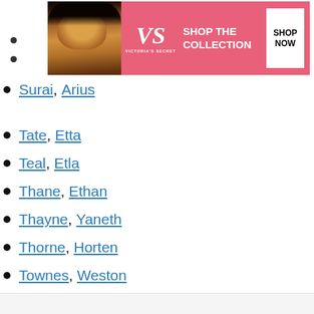[Figure (other): Victoria's Secret advertisement banner (pink background, model, VS logo, SHOP THE COLLECTION, SHOP NOW button)]
Surai, Arius
Tate, Etta
Teal, Etla
Thane, Ethan
Thayne, Yaneth
Thorne, Horten
Townes, Weston
We use cookies on our website to give you the most relevant experience by remembering your preferences and repeat visits. By clicking “Accept”, you consent to the use of ALL the cookies.
Do not sell my personal information.
[Figure (other): Victoria's Secret advertisement banner (pink background, model, VS logo, SHOP THE COLLECTION, SHOP NOW button) at bottom of page]